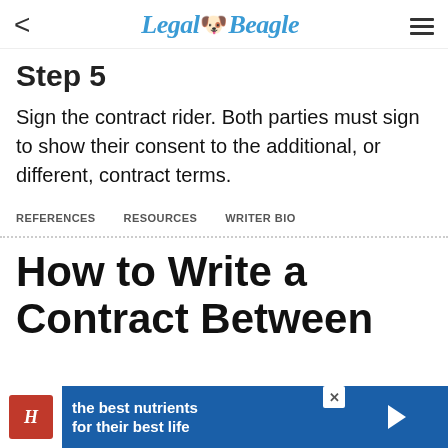Legal Beagle
Step 5
Sign the contract rider. Both parties must sign to show their consent to the additional, or different, contract terms.
REFERENCES   RESOURCES   WRITER BIO
How to Write a Contract Between
[Figure (screenshot): Hill's Pet Nutrition advertisement banner: blue background with Hill's logo, text 'the best nutrients for their best life']